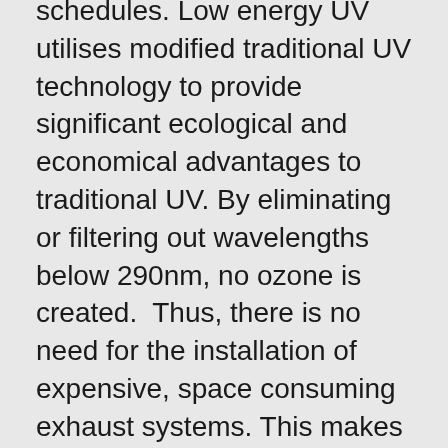schedules. Low energy UV utilises modified traditional UV technology to provide significant ecological and economical advantages to traditional UV. By eliminating or filtering out wavelengths below 290nm, no ozone is created. Thus, there is no need for the installation of expensive, space consuming exhaust systems. This makes low energy UV highly attractive to fast turnaround conventional printers, allowing them to save on energy costs by eliminating infra-red and warm air drying, while gaining immediate drying, which saves on work-in-progress and improving delivery times.
Tyler Newsom, Product Manager Sheetfed Inks North America, states “as commercial printers are pushed to offer shorter and shorter lead times, work-in-progress must be kept to a